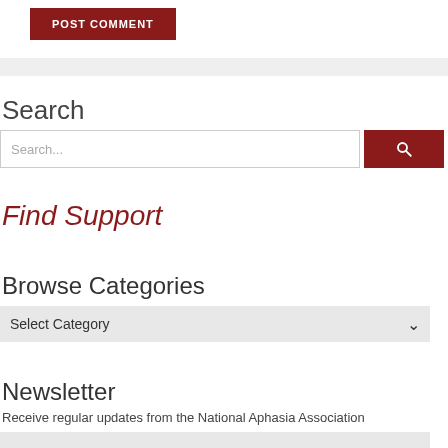POST COMMENT
Search
Search...
Find Support
Browse Categories
Select Category
Newsletter
Receive regular updates from the National Aphasia Association